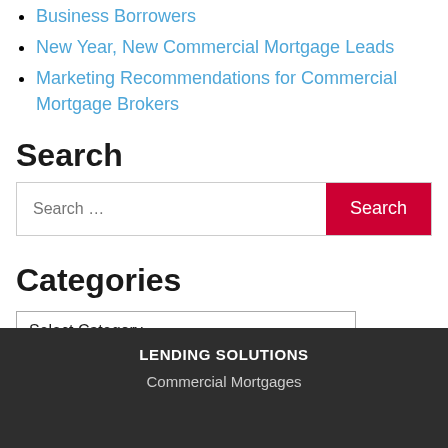Business Borrowers
New Year, New Commercial Mortgage Leads
Marketing Recommendations for Commercial Mortgage Brokers
Search
Search …
Categories
Select Category
LENDING SOLUTIONS
Commercial Mortgages